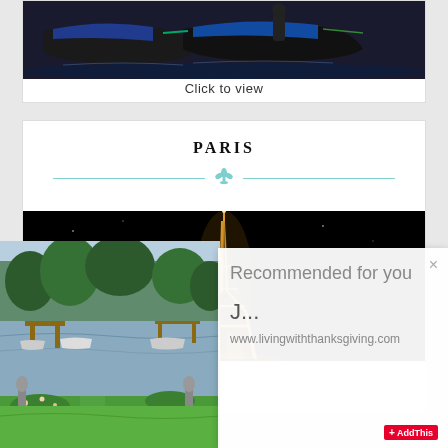[Figure (photo): Gondolas on water, dark colored boats with blue covers]
Click to view
PARIS
[Figure (photo): Eiffel Tower lit up at night against a dark sky]
[Figure (photo): Lake scene with dock, boats, and green garden in foreground]
Recommended for you
J...
www.livingwiththanksgiving.com
+ AddThis